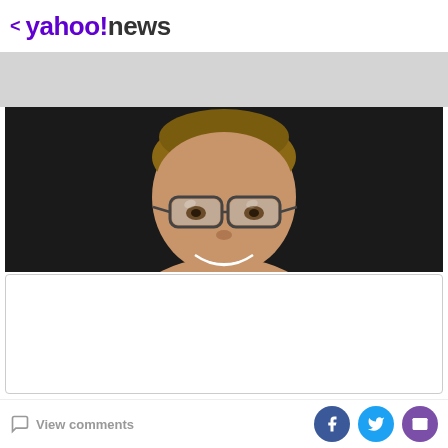< yahoo!news
[Figure (photo): Advertisement banner area (gray)]
[Figure (photo): Photo of a smiling person with glasses against a dark background, showing upper face and glasses]
[Figure (other): Advertisement box (white rectangle with border)]
Naturally, the post received a wave of support from fans
View comments | Facebook share | Twitter share | Email share